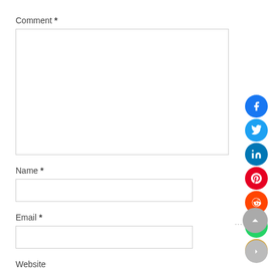Comment *
[Figure (screenshot): Empty comment text area input box]
Name *
[Figure (screenshot): Empty name text input field]
Email *
[Figure (screenshot): Empty email text input field]
Website
[Figure (illustration): Social media sharing icons sidebar: Facebook, Twitter, LinkedIn, Pinterest, Reddit, WhatsApp, Email; scroll-up button and more button]